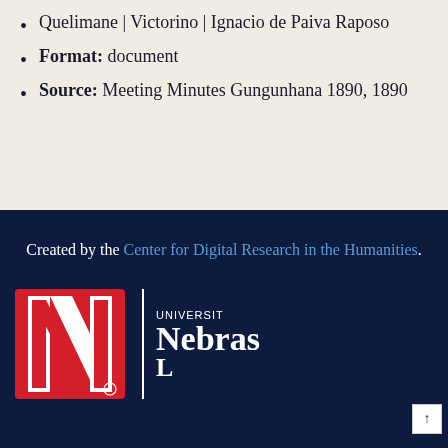Quelimane | Victorino | Ignacio de Paiva Raposo
Format: document
Source: Meeting Minutes Gungunhana 1890, 1890
Created by the Center for Digital Research in the Humanities.
[Figure (logo): University of Nebraska–Lincoln logo: large red N with white stripe on dark navy background, vertical white divider, text 'UNIVERSITY Nebraska L']